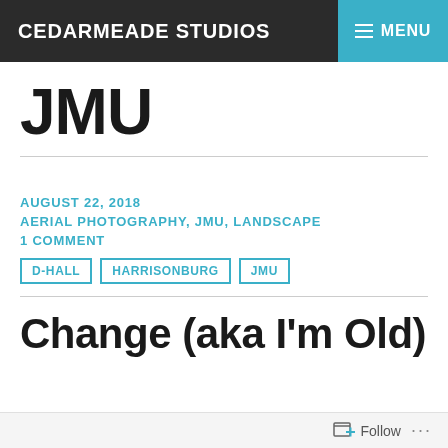CEDARMEADE STUDIOS  MENU
JMU
AUGUST 22, 2018
AERIAL PHOTOGRAPHY, JMU, LANDSCAPE
1 COMMENT
D-HALL
HARRISONBURG
JMU
Change (aka I'm Old)
Follow ...